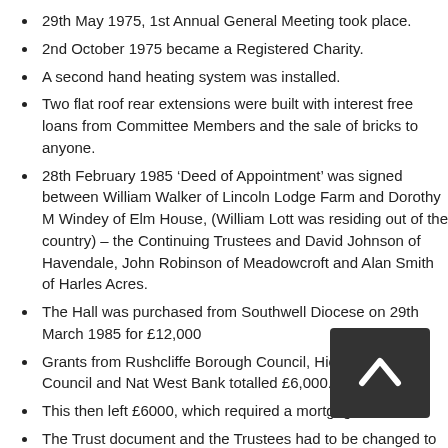29th May 1975, 1st Annual General Meeting took place.
2nd October 1975 became a Registered Charity.
A second hand heating system was installed.
Two flat roof rear extensions were built with interest free loans from Committee Members and the sale of bricks to anyone.
28th February 1985 ‘Deed of Appointment’ was signed between William Walker of Lincoln Lodge Farm and Dorothy M Windey of Elm House, (William Lott was residing out of the country) – the Continuing Trustees and David Johnson of Havendale, John Robinson of Meadowcroft and Alan Smith of Harles Acres.
The Hall was purchased from Southwell Diocese on 29th March 1985 for £12,000
Grants from Rushcliffe Borough Council, Hickling Parish Council and Nat West Bank totalled £6,000.
This then left £6000, which required a mortgage.
The Trust document and the Trustees had to be changed to be able to secure a mortgage. The ‘Deed of